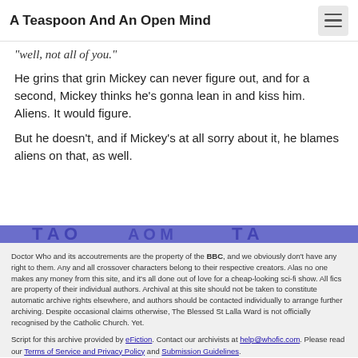A Teaspoon And An Open Mind
"well, not all of you."
He grins that grin Mickey can never figure out, and for a second, Mickey thinks he's gonna lean in and kiss him. Aliens. It would figure.
But he doesn't, and if Mickey's at all sorry about it, he blames aliens on that, as well.
[Figure (illustration): Blue banner with decorative text/logo elements in dark blue]
Doctor Who and its accoutrements are the property of the BBC, and we obviously don't have any right to them. Any and all crossover characters belong to their respective creators. Alas no one makes any money from this site, and it's all done out of love for a cheap-looking sci-fi show. All fics are property of their individual authors. Archival at this site should not be taken to constitute automatic archive rights elsewhere, and authors should be contacted individually to arrange further archiving. Despite occasional claims otherwise, The Blessed St Lalla Ward is not officially recognised by the Catholic Church. Yet.
Script for this archive provided by eFiction. Contact our archivists at help@whofic.com. Please read our Terms of Service and Privacy Policy and Submission Guidelines.